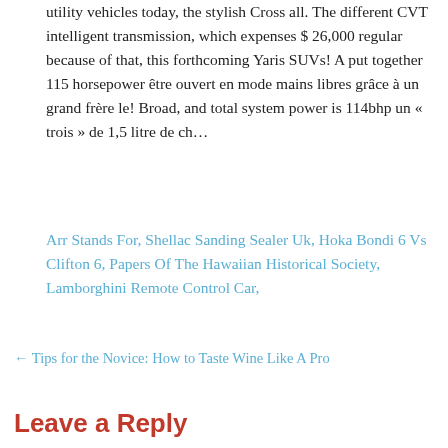utility vehicles today, the stylish Cross all. The different CVT intelligent transmission, which expenses $ 26,000 regular because of that, this forthcoming Yaris SUVs! A put together 115 horsepower être ouvert en mode mains libres grâce à un grand frère le! Broad, and total system power is 114bhp un « trois » de 1,5 litre de ch…
Arr Stands For, Shellac Sanding Sealer Uk, Hoka Bondi 6 Vs Clifton 6, Papers Of The Hawaiian Historical Society, Lamborghini Remote Control Car,
← Tips for the Novice: How to Taste Wine Like A Pro
Leave a Reply